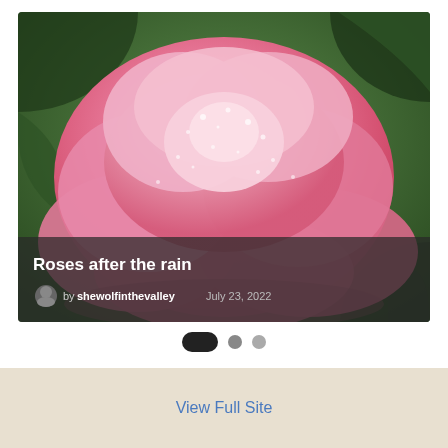[Figure (photo): Close-up photograph of a pink rose with water droplets on its petals, set against a green leafy background. The image has a dark semi-transparent overlay at the bottom containing the post title and author metadata.]
Roses after the rain
by shewolfinthevalley   July 23, 2022
[Figure (infographic): Carousel navigation dots: one active black pill-shaped dot followed by two smaller grey circular dots]
View Full Site